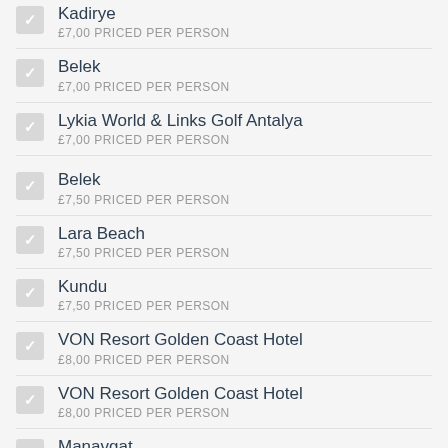Kadirye
£7,00 PRICED PER PERSON
Belek
£7,00 PRICED PER PERSON
Lykia World & Links Golf Antalya
£7,00 PRICED PER PERSON
Belek
£7,50 PRICED PER PERSON
Lara Beach
£7,50 PRICED PER PERSON
Kundu
£7,50 PRICED PER PERSON
VON Resort Golden Coast Hotel
£8,00 PRICED PER PERSON
VON Resort Golden Coast Hotel
£8,00 PRICED PER PERSON
Manavgat
£8,00 PRICED PER PERSON
Manavgat
£8,00 PRICED PER PERSON
Side